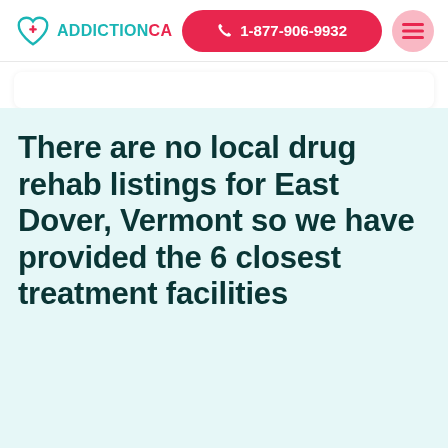ADDICTION.CA | 1-877-906-9932
There are no local drug rehab listings for East Dover, Vermont so we have provided the 6 closest treatment facilities